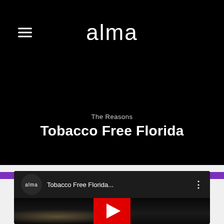alma
The Reasons
Tobacco Free Florida
[Figure (screenshot): YouTube video embed thumbnail showing 'Tobacco Free Florida...' with alma logo, dark night scene background, and red YouTube play button]